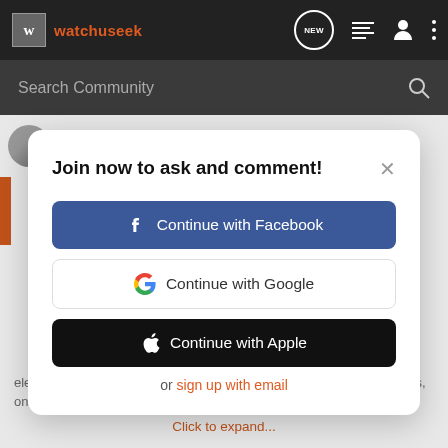watchuseek
Search Community
Join now to ask and comment!
Continue with Facebook
Continue with Google
Continue with Apple
or sign up with email
electromagnetic field. Watches don't do well with electromagnetic fields, on account of the balance spring potentially becoming
Click to expand...